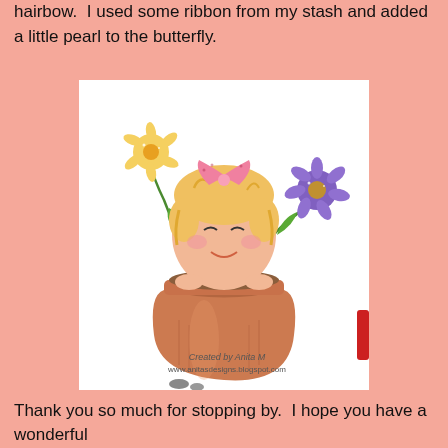hairbow.  I used some ribbon from my stash and added a little pearl to the butterfly.
[Figure (illustration): Hand-colored illustration of a cute cartoon girl with blonde hair and a pink hairbow, peeking out of a terra cotta flower pot. Two flowers (one yellow, one purple) grow from the pot. Watermark reads 'Created by Anita M' and 'www.anitasdesigns.blogspot.com'.]
Thank you so much for stopping by.  I hope you have a wonderful